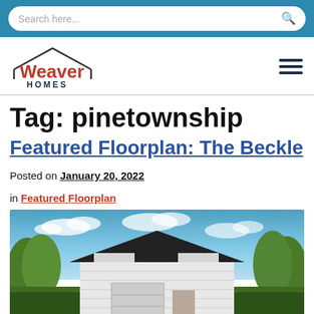Search here...
[Figure (logo): Weaver Homes logo with house roof outline above text]
Tag: pinetownship
Featured Floorplan: The Beckle
Posted on January 20, 2022
in Featured Floorplan
[Figure (photo): Exterior photo of a house with dark roof, white siding, and trees in background under blue sky]